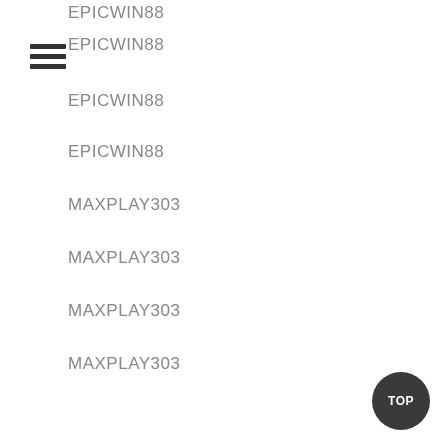EPICWIN88
EPICWIN88
EPICWIN88
EPICWIN88
MAXPLAY303
MAXPLAY303
MAXPLAY303
MAXPLAY303
DESTINY303
DESTINY303
DESTINY303
DESTINY303
NETIZENBET
NETIZENBET
NETIZENBET
NETIZENBET
LOYALBET88
LOYALBET88
LOYALBET88